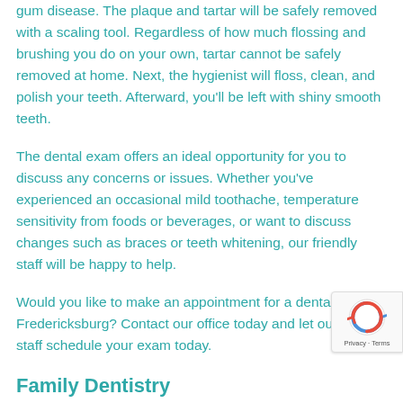gum disease. The plaque and tartar will be safely removed with a scaling tool. Regardless of how much flossing and brushing you do on your own, tartar cannot be safely removed at home. Next, the hygienist will floss, clean, and polish your teeth. Afterward, you'll be left with shiny smooth teeth.
The dental exam offers an ideal opportunity for you to discuss any concerns or issues. Whether you've experienced an occasional mild toothache, temperature sensitivity from foods or beverages, or want to discuss changes such as braces or teeth whitening, our friendly staff will be happy to help.
Would you like to make an appointment for a dental exam in Fredericksburg? Contact our office today and let our friendly staff schedule your exam today.
Family Dentistry